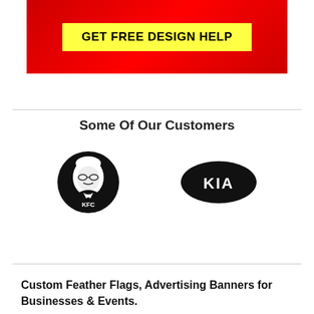[Figure (infographic): Red banner with yellow button reading GET FREE DESIGN HELP]
Some Of Our Customers
[Figure (logo): KFC logo (black and white circular logo with Colonel Sanders and KFC text) and KIA logo (black oval with white KIA text) displayed side by side]
Custom Feather Flags, Advertising Banners for Businesses & Events.